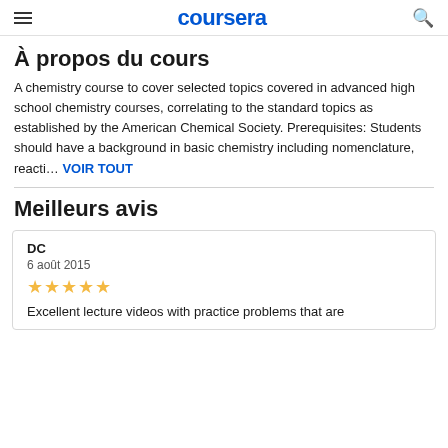coursera
À propos du cours
A chemistry course to cover selected topics covered in advanced high school chemistry courses, correlating to the standard topics as established by the American Chemical Society. Prerequisites: Students should have a background in basic chemistry including nomenclature, reacti… VOIR TOUT
Meilleurs avis
DC
6 août 2015
★★★★★
Excellent lecture videos with practice problems that are